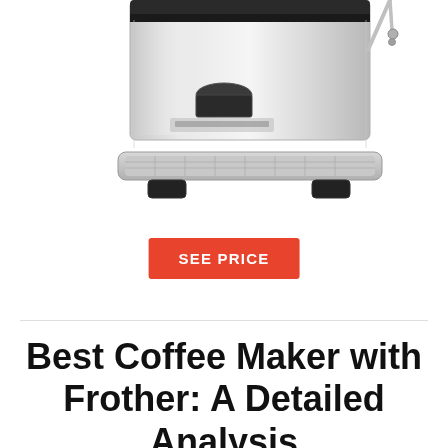[Figure (photo): Bottom portion of a stainless steel espresso machine with drip tray and steam wand visible against a white background]
SEE PRICE
Best Coffee Maker with Frother: A Detailed Analysis